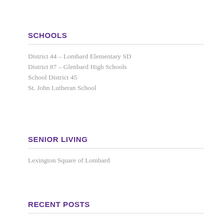SCHOOLS
District 44 – Lombard Elementary SD
District 87 – Glenbard High Schools
School District 45
St. John Lutheran School
SENIOR LIVING
Lexington Square of Lombard
RECENT POSTS